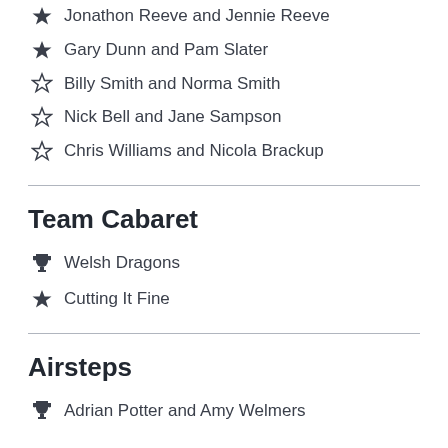Jonathon Reeve and Jennie Reeve
Gary Dunn and Pam Slater
Billy Smith and Norma Smith
Nick Bell and Jane Sampson
Chris Williams and Nicola Brackup
Team Cabaret
Welsh Dragons
Cutting It Fine
Airsteps
Adrian Potter and Amy Welmers